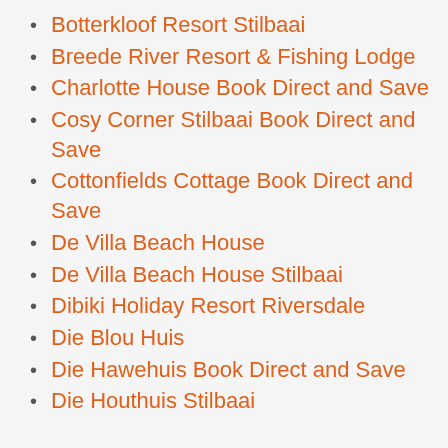Botterkloof Resort Stilbaai
Breede River Resort & Fishing Lodge
Charlotte House Book Direct and Save
Cosy Corner Stilbaai Book Direct and Save
Cottonfields Cottage Book Direct and Save
De Villa Beach House
De Villa Beach House Stilbaai
Dibiki Holiday Resort Riversdale
Die Blou Huis
Die Hawehuis Book Direct and Save
Die Houthuis Stilbaai